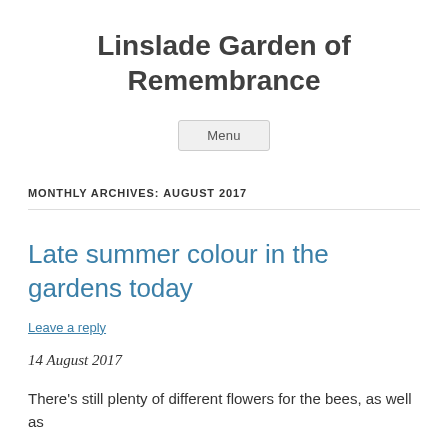Linslade Garden of Remembrance
[Figure (other): Menu navigation button]
MONTHLY ARCHIVES: AUGUST 2017
Late summer colour in the gardens today
Leave a reply
14 August 2017
There's still plenty of different flowers for the bees, as well as